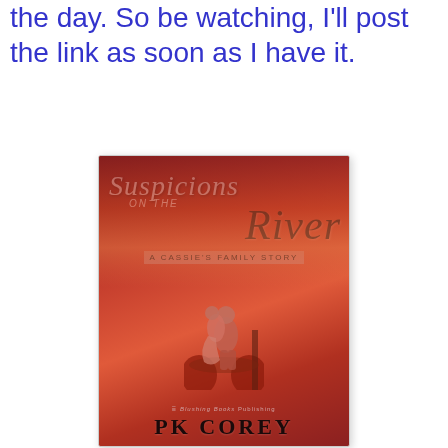the day. So be watching, I'll post the link as soon as I have it.
[Figure (illustration): Book cover for 'Suspicions on the River: A Cassie's Family Story' by PK Corey, published by Blushing Books Publishing. The cover features a red/crimson-toned romantic scene with a couple embracing near a river dock, with reddish sky and waterfront buildings in the background.]